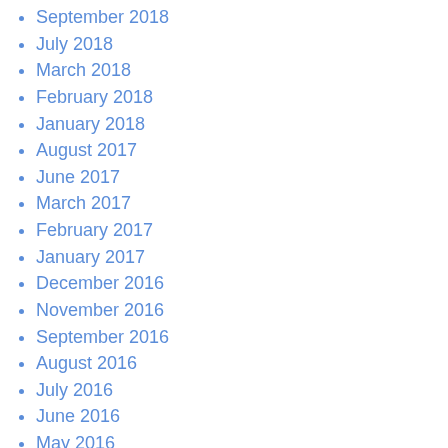September 2018
July 2018
March 2018
February 2018
January 2018
August 2017
June 2017
March 2017
February 2017
January 2017
December 2016
November 2016
September 2016
August 2016
July 2016
June 2016
May 2016
April 2016
March 2016